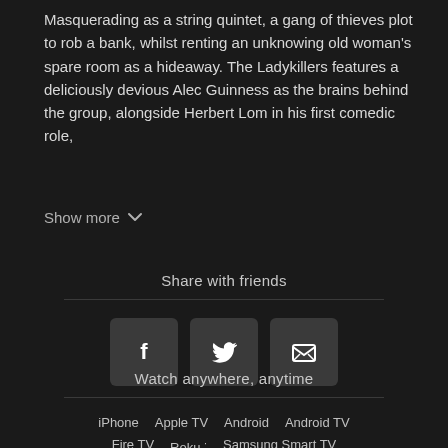Masquerading as a string quintet, a gang of thieves plot to rob a bank, whilst renting an unknowing old woman's spare room as a hideaway. The Ladykillers features a deliciously devious Alec Guinness as the brains behind the group, alongside Herbert Lom in his first comedic role,
Show more
Share with friends
[Figure (other): Three social share buttons: Facebook, Twitter, Email]
Watch anywhere, anytime
iPhone  Apple TV  Android  Android TV  Fire TV  Roku ·  Samsung Smart TV